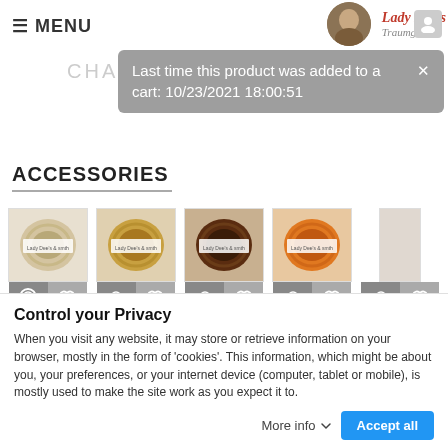☰ MENU
[Figure (logo): Lady Dee's Traumgarne logo with circular avatar image]
Last time this product was added to a cart: 10/23/2021 18:00:51
ACCESSORIES
[Figure (photo): Five yarn ball products (cream, golden, dark brown, orange, partial fifth) each with action icons and labels 'Lace Yarn -']
Control your Privacy
When you visit any website, it may store or retrieve information on your browser, mostly in the form of 'cookies'. This information, which might be about you, your preferences, or your internet device (computer, tablet or mobile), is mostly used to make the site work as you expect it to.
More info   Accept all